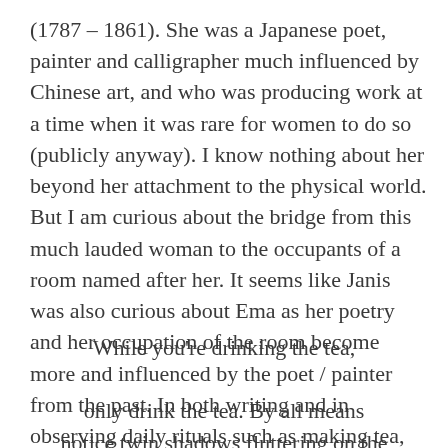(1787 – 1861). She was a Japanese poet, painter and calligrapher much influenced by Chinese art, and who was producing work at a time when it was rare for women to do so (publicly anyway). I know nothing about her beyond her attachment to the physical world. But I am curious about the bridge from this much lauded woman to the occupants of a room named after her. It seems like Janis was also curious about Ema as her poetry and her occupation of the room become more and influenced by the poet / painter from the past. In both writing and in observing daily rituals such as making tea, especially in the making of loose-leaf tea with an exquisite concentration, Janis moves closer to Ema.
While you're drinking the tea,
only drink the tea. By all means
notice twin shadows fluttering on the